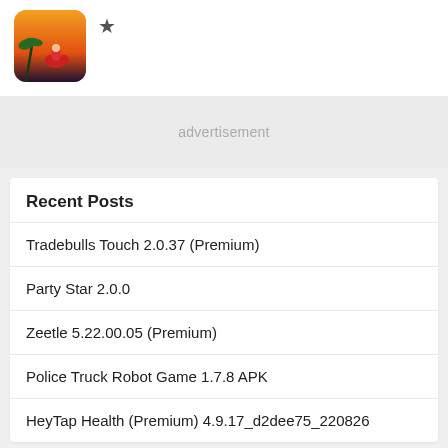[Figure (screenshot): Game thumbnail showing motorcycle action game with palm trees and sunset background, with a star/bookmark icon to the right]
advertisement
Recent Posts
Tradebulls Touch 2.0.37 (Premium)
Party Star 2.0.0
Zeetle 5.22.00.05 (Premium)
Police Truck Robot Game 1.7.8 APK
HeyTap Health (Premium) 4.9.17_d2dee75_220826
Top New Games / Apps
[Figure (screenshot): Small dark game thumbnail at bottom]